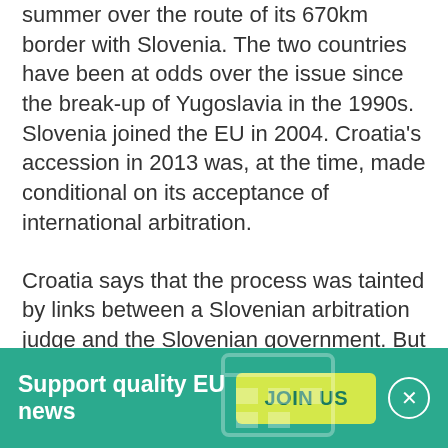summer over the route of its 670km border with Slovenia. The two countries have been at odds over the issue since the break-up of Yugoslavia in the 1990s. Slovenia joined the EU in 2004. Croatia's accession in 2013 was, at the time, made conditional on its acceptance of international arbitration.
Croatia says that the process was tainted by links between a Slovenian arbitration judge and the Slovenian government. But the court, which dismissed the judge, said the incident did not impede its work.
Pahor went to Brussels, where he also met European Council president Donald Tusk, days after the deadline to implement the so-called arbitration award expired on
Support quality EU news | JOIN US